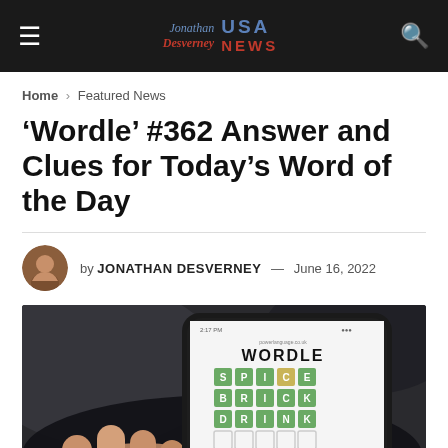Jonathan Desverney USA NEWS
Home > Featured News
'Wordle' #362 Answer and Clues for Today's Word of the Day
by JONATHAN DESVERNEY — June 16, 2022
[Figure (photo): Hand holding a smartphone displaying the Wordle game interface with colored letter tiles spelling out SPICE, BRICK, DRINK on a dark phone case]